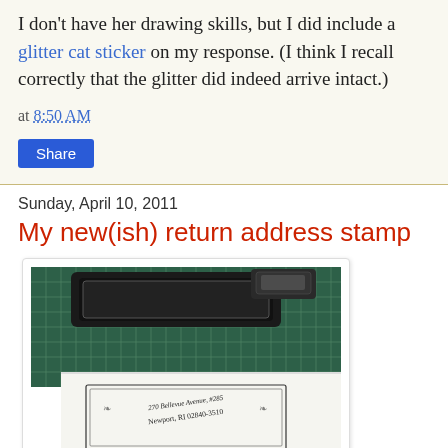I don't have her drawing skills, but I did include a glitter cat sticker on my response. (I think I recall correctly that the glitter did indeed arrive intact.)
at 8:50 AM
Share
Sunday, April 10, 2011
My new(ish) return address stamp
[Figure (photo): Photo of a rubber stamp with ornate border design sitting on a green cutting mat, with a stamped impression on white paper below showing '270 Bellevue Avenue, #285, Newport, RI 02840-3510' in decorative text with flourishes.]